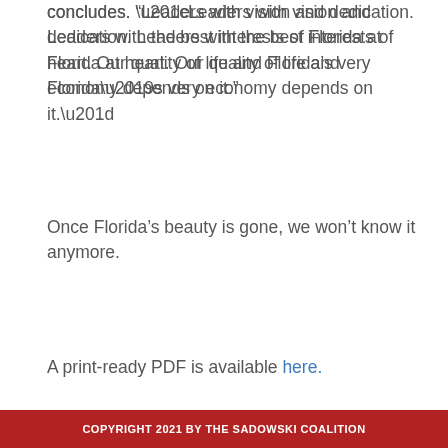concludes. “Leaders with vision and dedication. Leaders with the best interests of Florida at heart. Our quality of life and Florida’s very economy depends on it.”
Once Florida’s beauty is gone, we won’t know it anymore.
A print-ready PDF is available here.
COPYRIGHT 2021 BY THE SADOWSKI COALITION